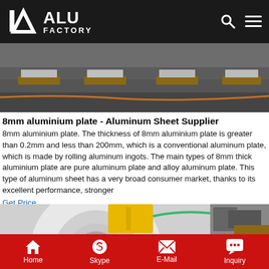ALU FACTORY
[Figure (photo): Photo of aluminium plates stacked on a dark surface outdoors]
8mm aluminium plate - Aluminum Sheet Supplier
8mm aluminium plate. The thickness of 8mm aluminium plate is greater than 0.2mm and less than 200mm, which is a conventional aluminum plate, which is made by rolling aluminum ingots. The main types of 8mm thick aluminium plate are pure aluminum plate and alloy aluminum plate. This type of aluminum sheet has a very broad consumer market, thanks to its excellent performance, stronger
Get Price
[Figure (photo): Photo of a large aluminium coil roll with yellow protective corner guard and industrial equipment in background]
Home  Skype  E-Mail  Inquiry